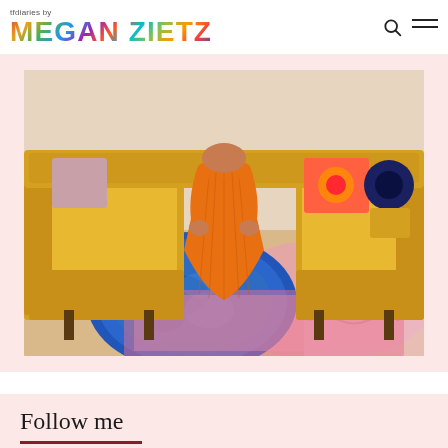tfdiaries by MEGAN ZIETZ
[Figure (photo): Woman in orange pleated maxi dress sitting on a yellow velvet sofa surrounded by colorful pillows, with blue circular rug and pink patterned rug on wooden floor]
Follow me